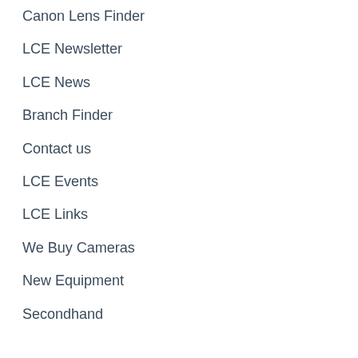Canon Lens Finder
LCE Newsletter
LCE News
Branch Finder
Contact us
LCE Events
LCE Links
We Buy Cameras
New Equipment
Secondhand